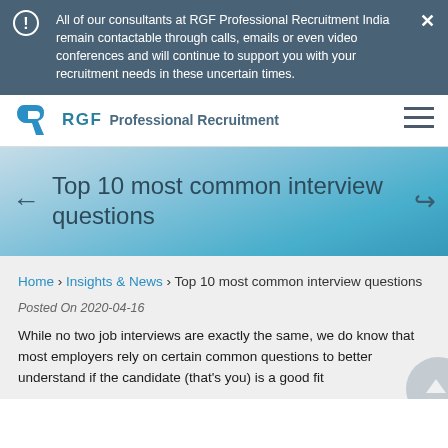All of our consultants at RGF Professional Recruitment India remain contactable through calls, emails or even video conferences and will continue to support you with your recruitment needs in these uncertain times.
[Figure (logo): RGF Professional Recruitment logo with blue R icon and nav bar with hamburger menu]
Top 10 most common interview questions
Home › Insights & News › Top 10 most common interview questions
Posted On 2020-04-16
While no two job interviews are exactly the same, we do know that most employers rely on certain common questions to better understand if the candidate (that's you) is a good fit